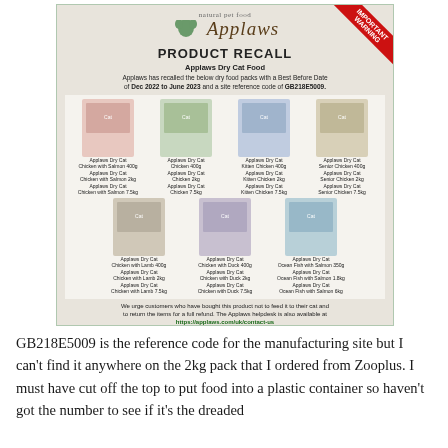[Figure (other): Applaws natural pet food product recall notice. Shows logo, 'PRODUCT RECALL' heading, 'Applaws Dry Cat Food' subtitle, description of recalled products with Best Before Date Dec 2022 to June 2023 and site reference code GB218E5009, images of 7 product varieties with size variants listed, and contact/returns information.]
GB218E5009 is the reference code for the manufacturing site but I can't find it anywhere on the 2kg pack that I ordered from Zooplus. I must have cut off the top to put food into a plastic container so haven't got the number to see if it's the dreaded